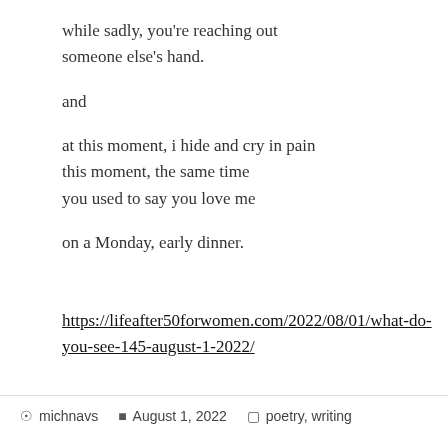while sadly, you're reaching out
someone else's hand.

and

at this moment, i hide and cry in pain
this moment, the same time
you used to say you love me

on a Monday, early dinner.
https://lifeafter50forwomen.com/2022/08/01/what-do-you-see-145-august-1-2022/
michnavs   August 1, 2022   poetry, writing